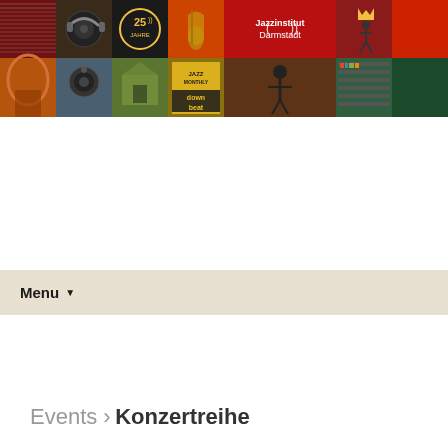[Figure (illustration): Jazzinstitut Darmstadt header banner with a collage of colorful photo tiles in two rows: top row includes vinyl records on dark red, headphones on brown, 25 Jahre logo on dark, saxophone on red/gold, Jazzinstitut Darmstadt text with sound wave logo on red, and crown figure on dark red. Bottom row includes arched interior, speakers, building exterior, jazz magazine covers (Jazz Monthly, Down Beat), person playing music, and bookshelves.]
Menu ▼
Events › Konzertreihe